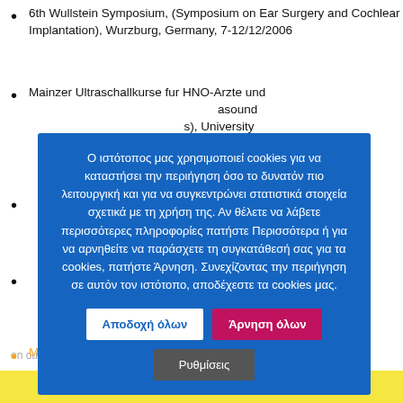6th Wullstein Symposium, (Symposium on Ear Surgery and Cochlear Implantation), Wurzburg, Germany, 7-12/12/2006
Mainzer Ultraschallkurse fur HNO-Arzte und ... asound ... s), University ... ntinuing
... opic Sinus ... Mainz, ... Medical
... op (Cadaver ... os General ... asal septum ... y gland ... astv).
Ο ιστότοπος μας χρησιμοποιεί cookies για να καταστήσει την περιήγηση όσο το δυνατόν πιο λειτουργική και για να συγκεντρώνει στατιστικά στοιχεία σχετικά με τη χρήση της. Αν θέλετε να λάβετε περισσότερες πληροφορίες πατήστε Περισσότερα ή για να αρνηθείτε να παράσχετε τη συγκατάθεσή σας για τα cookies, πατήστε Άρνηση. Συνεχίζοντας την περιήγηση σε αυτόν τον ιστότοπο, αποδέχεστε τα cookies μας.
Αποδοχή όλων
Άρνηση όλων
Ρυθμίσεις
on our website.
Mainzer Ultraschallkurse fur HNO-Arzte und